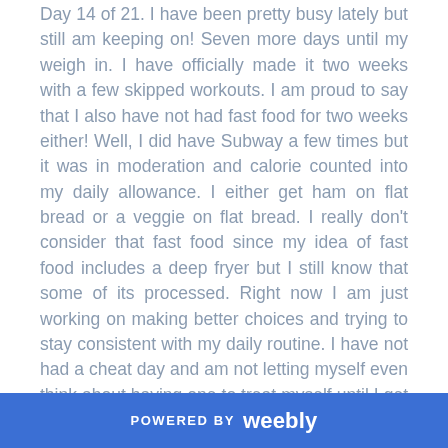Day 14 of 21. I have been pretty busy lately but still am keeping on! Seven more days until my weigh in. I have officially made it two weeks with a few skipped workouts. I am proud to say that I also have not had fast food for two weeks either! Well, I did have Subway a few times but it was in moderation and calorie counted into my daily allowance. I either get ham on flat bread or a veggie on flat bread. I really don't consider that fast food since my idea of fast food includes a deep fryer but I still know that some of its processed. Right now I am just working on making better choices and trying to stay consistent with my daily routine. I have not had a cheat day and am not letting myself even think about having one to treat myself until I get over the 21 day mark. I have been eating a lot of cantaloupe, cottage cheese, shrimp, crab and snacking on grapes, carrots, those new "Even Thinner Wheat Thins" (22 pieces for 140 calories) & popcorn. I have been keeping up with my water and
POWERED BY weebly